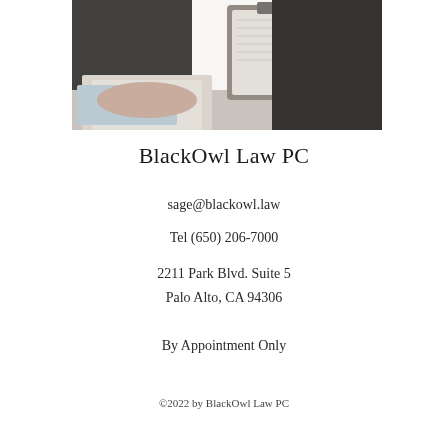[Figure (photo): Two people at a desk, one holding a clipboard with papers and a pen, in a legal/business meeting setting. The image is partially cropped showing hands and a clipboard.]
BlackOwl Law PC
sage@blackowl.law
Tel (650) 206-7000
2211 Park Blvd. Suite 5
Palo Alto, CA 94306
By Appointment Only
©2022 by BlackOwl Law PC